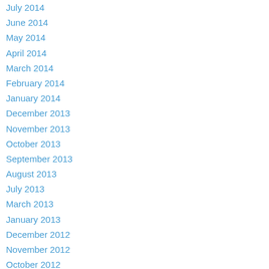July 2014
June 2014
May 2014
April 2014
March 2014
February 2014
January 2014
December 2013
November 2013
October 2013
September 2013
August 2013
July 2013
March 2013
January 2013
December 2012
November 2012
October 2012
May 2012
Author
City Dogs Rescue & City Kitties volunteers